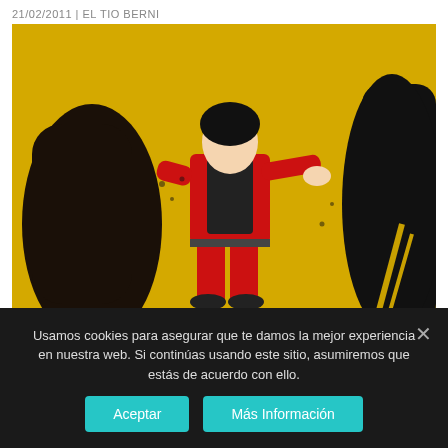21/02/2011 | EL TIO BERNI
[Figure (illustration): Vintage comic book illustration showing a figure dressed in red clothing standing against a yellow background with dark shadow figures on either side]
Oldies but goldies
Usamos cookies para asegurar que te damos la mejor experiencia en nuestra web. Si continúas usando este sitio, asumiremos que estás de acuerdo con ello.
Aceptar | Más Información